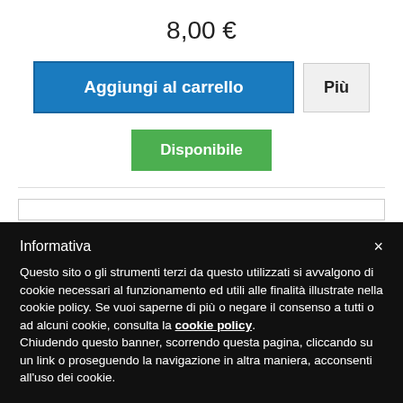8,00 €
Aggiungi al carrello
Più
Disponibile
Informativa
Questo sito o gli strumenti terzi da questo utilizzati si avvalgono di cookie necessari al funzionamento ed utili alle finalità illustrate nella cookie policy. Se vuoi saperne di più o negare il consenso a tutti o ad alcuni cookie, consulta la cookie policy.
Chiudendo questo banner, scorrendo questa pagina, cliccando su un link o proseguendo la navigazione in altra maniera, acconsenti all'uso dei cookie.